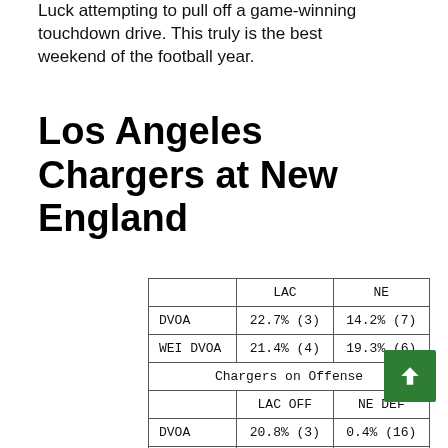Luck attempting to pull off a game-winning touchdown drive. This truly is the best weekend of the football year.
Los Angeles Chargers at New England
|  | LAC | NE |
| --- | --- | --- |
| DVOA | 22.7% (3) | 14.2% (7) |
| WEI DVOA | 21.4% (4) | 19.3% (6) |
| Chargers on Offense |  |  |
|  | LAC OFF | NE DEF |
| DVOA | 20.8% (3) | 0.4% (16) |
| WEI DVOA | 11.9% (8) | 0.2% (14) |
| PASS | 41.7% (2) | 5.1% (14) |